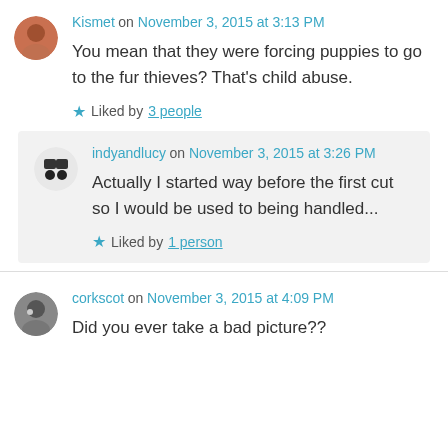Kismet on November 3, 2015 at 3:13 PM
You mean that they were forcing puppies to go to the fur thieves? That's child abuse.
Liked by 3 people
indyandlucy on November 3, 2015 at 3:26 PM
Actually I started way before the first cut so I would be used to being handled...
Liked by 1 person
corkscot on November 3, 2015 at 4:09 PM
Did you ever take a bad picture??